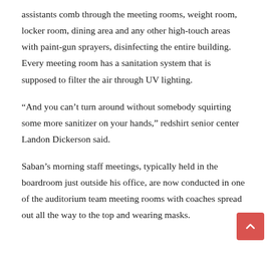assistants comb through the meeting rooms, weight room, locker room, dining area and any other high-touch areas with paint-gun sprayers, disinfecting the entire building. Every meeting room has a sanitation system that is supposed to filter the air through UV lighting.
“And you can’t turn around without somebody squirting some more sanitizer on your hands,” redshirt senior center Landon Dickerson said.
Saban’s morning staff meetings, typically held in the boardroom just outside his office, are now conducted in one of the auditorium team meeting rooms with coaches spread out all the way to the top and wearing masks.